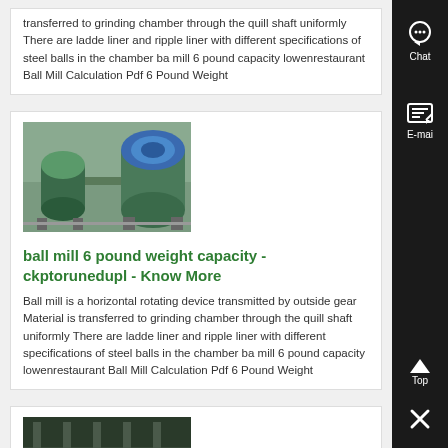transferred to grinding chamber through the quill shaft uniformly There are ladder liner and ripple liner with different specifications of steel balls in the chamber ball mill 6 pound capacity lowenrestaurant Ball Mill Calculation Pdf 6 Pound Weight
[Figure (photo): Industrial ball mill machinery in a factory setting, showing large green cylindrical grinding equipment]
ball mill 6 pound weight capacity - ckptorunedupl - Know More
Ball mill is a horizontal rotating device transmitted by outside gear Material is transferred to grinding chamber through the quill shaft uniformly There are ladder liner and ripple liner with different specifications of steel balls in the chamber ball mill 6 pound capacity lowenrestaurant Ball Mill Calculation Pdf 6 Pound Weight
[Figure (photo): Industrial conveyor or trough equipment in a factory setting, showing metal structural components]